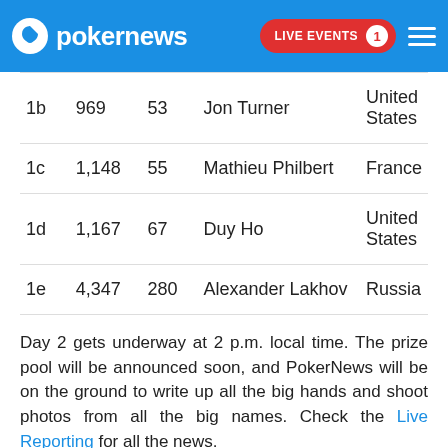pokernews | LIVE EVENTS 1
| 1b | 969 | 53 | Jon Turner | United States |
| 1c | 1,148 | 55 | Mathieu Philbert | France |
| 1d | 1,167 | 67 | Duy Ho | United States |
| 1e | 4,347 | 280 | Alexander Lakhov | Russia |
Day 2 gets underway at 2 p.m. local time. The prize pool will be announced soon, and PokerNews will be on the ground to write up all the big hands and shoot photos from all the big names. Check the Live Reporting for all the news.
[Figure (other): Gray placeholder box at bottom of page]